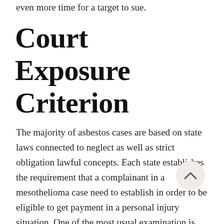even more time for a target to sue.
Court Exposure Criterion
The majority of asbestos cases are based on state laws connected to neglect as well as strict obligation lawful concepts. Each state establishes the requirement that a complainant in a mesothelioma case need to establish in order to be eligible to get payment in a personal injury situation. One of the most usual examination is Lohrmann test, which requires revealing that direct exposure to the accused's asbestos-containing item was a significant consider the sufferer developing mesothelioma cancer or various other asbestos-related condition